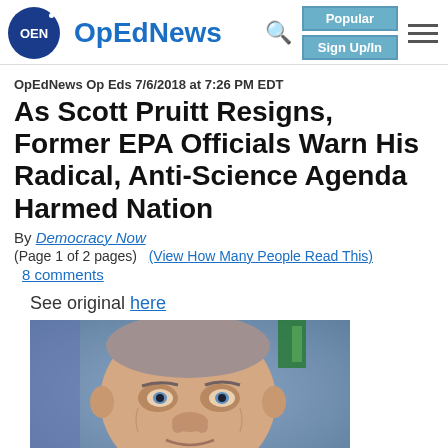OpEdNews
OpEdNews Op Eds 7/6/2018 at 7:26 PM EDT
As Scott Pruitt Resigns, Former EPA Officials Warn His Radical, Anti-Science Agenda Harmed Nation
By Democracy Now
(Page 1 of 2 pages)   (View How Many People Read This)
8 comments
See original here
[Figure (photo): Close-up photo of Scott Pruitt, a middle-aged man with short gray hair, resting his hand near his chin, looking thoughtful or concerned, against a blurred background]